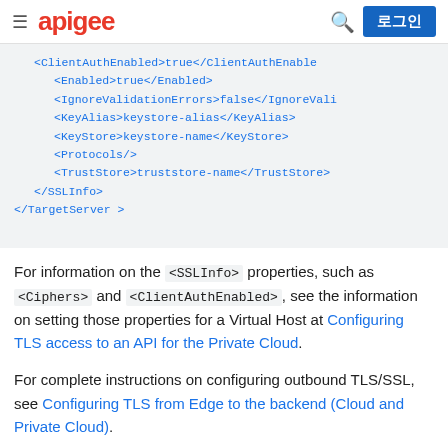≡ apigee [search] 로그인
<ClientAuthEnabled>true</ClientAuthEnabled>
    <Enabled>true</Enabled>
    <IgnoreValidationErrors>false</IgnoreValidationErrors>
    <KeyAlias>keystore-alias</KeyAlias>
    <KeyStore>keystore-name</KeyStore>
    <Protocols/>
    <TrustStore>truststore-name</TrustStore>
  </SSLInfo>
</TargetServer >
For information on the <SSLInfo> properties, such as <Ciphers> and <ClientAuthEnabled>, see the information on setting those properties for a Virtual Host at Configuring TLS access to an API for the Private Cloud.
For complete instructions on configuring outbound TLS/SSL, see Configuring TLS from Edge to the backend (Cloud and Private Cloud).